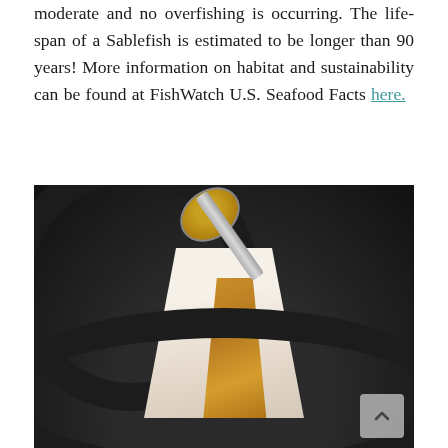moderate and no overfishing is occurring. The life-span of a Sablefish is estimated to be longer than 90 years! More information on habitat and sustainability can be found at FishWatch U.S. Seafood Facts here.
[Figure (photo): A spoon pouring amber-colored sauce over a white fish fillet (Sablefish) in a dark cast-iron pan.]